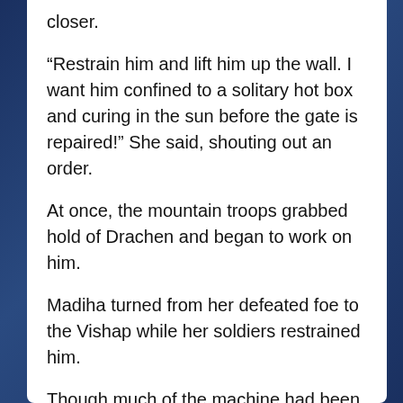closer.
“Restrain him and lift him up the wall. I want him confined to a solitary hot box and curing in the sun before the gate is repaired!” She said, shouting out an order.
At once, the mountain troops grabbed hold of Drachen and began to work on him.
Madiha turned from her defeated foe to the Vishap while her soldiers restrained him.
Though much of the machine had been